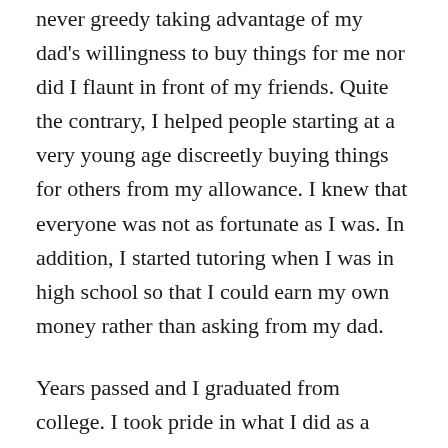never greedy taking advantage of my dad's willingness to buy things for me nor did I flaunt in front of my friends. Quite the contrary, I helped people starting at a very young age discreetly buying things for others from my allowance. I knew that everyone was not as fortunate as I was. In addition, I started tutoring when I was in high school so that I could earn my own money rather than asking from my dad.
Years passed and I graduated from college. I took pride in what I did as a teacher. Teaching is one of the greatest things one can do in life. If you know something and you have the ability to teach, why